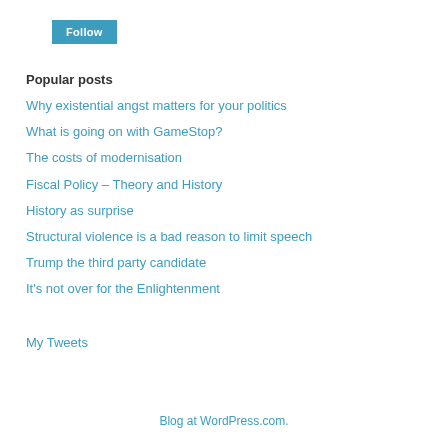[Figure (other): Follow button - blue rectangular button with white text 'Follow']
Popular posts
Why existential angst matters for your politics
What is going on with GameStop?
The costs of modernisation
Fiscal Policy – Theory and History
History as surprise
Structural violence is a bad reason to limit speech
Trump the third party candidate
It's not over for the Enlightenment
My Tweets
Blog at WordPress.com.